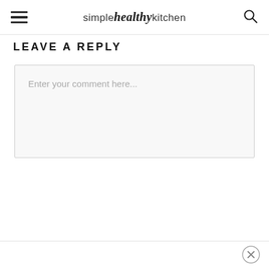simple healthy kitchen
LEAVE A REPLY
Enter your comment here...